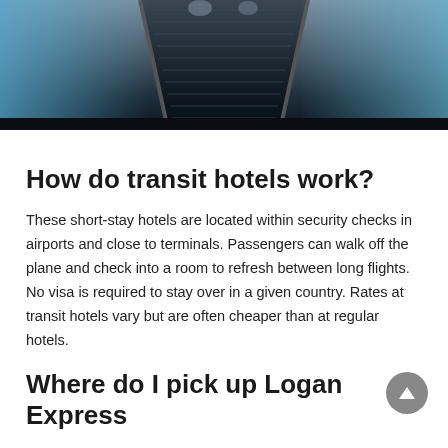[Figure (photo): Photo of an airport escalator viewed from below, showing the dark metallic steps receding upward with blurred figures and blue/white ambient light on the sides.]
How do transit hotels work?
These short-stay hotels are located within security checks in airports and close to terminals. Passengers can walk off the plane and check into a room to refresh between long flights. No visa is required to stay over in a given country. Rates at transit hotels vary but are often cheaper than at regular hotels.
Where do I pick up Logan Express